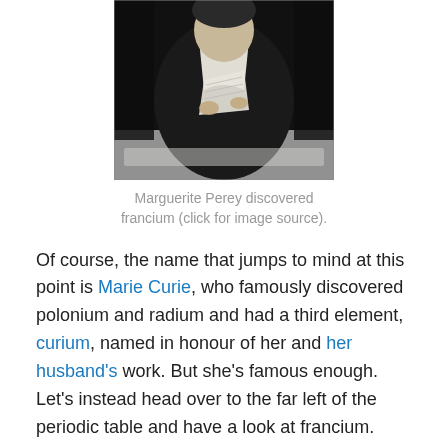[Figure (photo): Black and white photograph of Marguerite Perey, a woman looking down at papers on a desk.]
Marguerite Perey discovered francium (click for image source).
Of course, the name that jumps to mind at this point is Marie Curie, who famously discovered polonium and radium and had a third element, curium, named in honour of her and her husband's work. But she's famous enough. Let's instead head over to the far left of the periodic table and have a look at francium.
Mendeleev predicted there ought to be an element here,